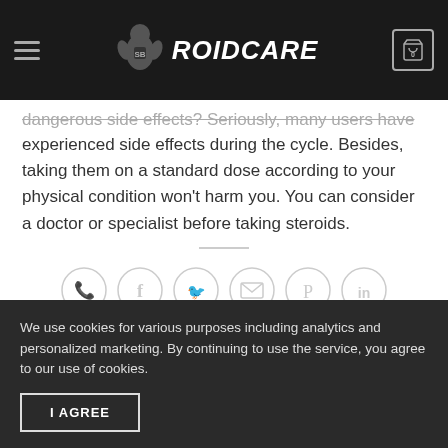ROIDCARE
dangerous side effects? Seriously, many users have experienced side effects during the cycle. Besides, taking them on a standard dose according to your physical condition won't harm you. You can consider a doctor or specialist before taking steroids.
[Figure (other): Six circular social sharing icons: WhatsApp, Facebook, Twitter, Email, Pinterest, LinkedIn]
We use cookies for various purposes including analytics and personalized marketing. By continuing to use the service, you agree to our use of cookies.
I AGREE